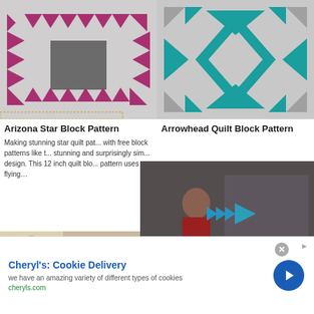[Figure (illustration): Arizona Star quilt block pattern with pink/magenta triangles and dark gray center square on light gray background]
[Figure (illustration): Arrowhead quilt block pattern with teal/dark cyan geometric shapes on light gray background]
Arizona Star Block Pattern
Arrowhead Quilt Block Pattern
Making stunning star quilt patterns with free block patterns like this stunning and surprisingly simple design. This 12 inch quilt block pattern uses flying…
[Figure (screenshot): Video overlay showing a person in a craft/sewing shop with a play button, mute icon, and progress bar at the bottom]
[Figure (photo): Bottom left photo showing colorful fabric/quilt pieces on a table]
[Figure (illustration): Bottom right partial quilt block pattern in pink/magenta and teal on gray background]
Cheryl's: Cookie Delivery
we have an amazing variety of different types of cookies
cheryls.com